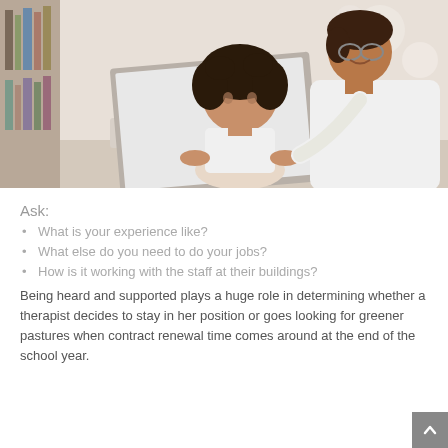[Figure (photo): An adult woman with glasses and a young girl with curly hair looking at a laptop together in a library setting. The woman is pointing at the screen and smiling.]
Ask:
What is your experience like?
What else do you need to do your jobs?
How is it working with the staff at their buildings?
Being heard and supported plays a huge role in determining whether a therapist decides to stay in her position or goes looking for greener pastures when contract renewal time comes around at the end of the school year.